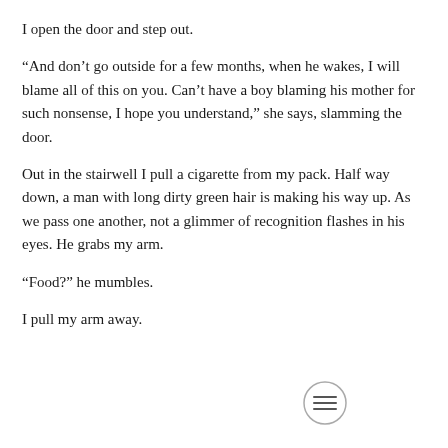I open the door and step out.
“And don’t go outside for a few months, when he wakes, I will blame all of this on you. Can’t have a boy blaming his mother for such nonsense, I hope you understand,” she says, slamming the door.
Out in the stairwell I pull a cigarette from my pack. Half way down, a man with long dirty green hair is making his way up. As we pass one another, not a glimmer of recognition flashes in his eyes. He grabs my arm.
“Food?” he mumbles.
I pull my arm away.
[Figure (other): A circular icon with three horizontal lines (hamburger/menu icon)]